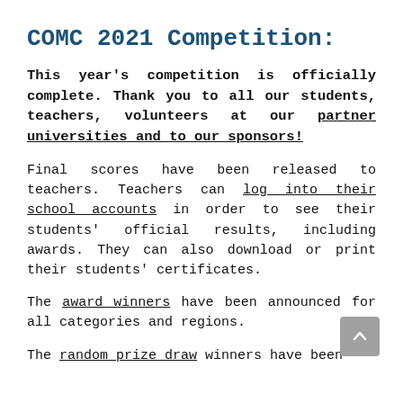COMC 2021 Competition:
This year's competition is officially complete. Thank you to all our students, teachers, volunteers at our partner universities and to our sponsors!
Final scores have been released to teachers. Teachers can log into their school accounts in order to see their students' official results, including awards. They can also download or print their students' certificates.
The award winners have been announced for all categories and regions.
The random prize draw winners have been